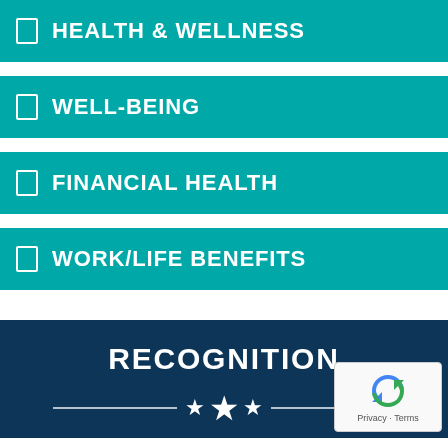HEALTH & WELLNESS
WELL-BEING
FINANCIAL HEALTH
WORK/LIFE BENEFITS
RECOGNITION